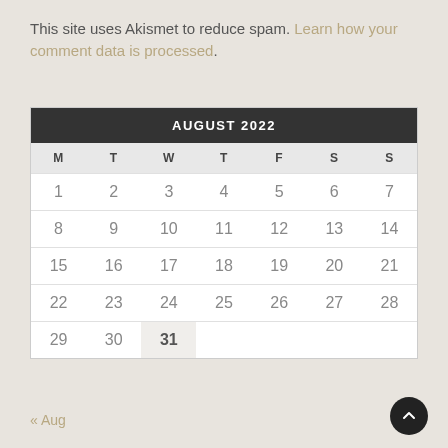This site uses Akismet to reduce spam. Learn how your comment data is processed.
| M | T | W | T | F | S | S |
| --- | --- | --- | --- | --- | --- | --- |
| 1 | 2 | 3 | 4 | 5 | 6 | 7 |
| 8 | 9 | 10 | 11 | 12 | 13 | 14 |
| 15 | 16 | 17 | 18 | 19 | 20 | 21 |
| 22 | 23 | 24 | 25 | 26 | 27 | 28 |
| 29 | 30 | 31 |  |  |  |  |
« Aug